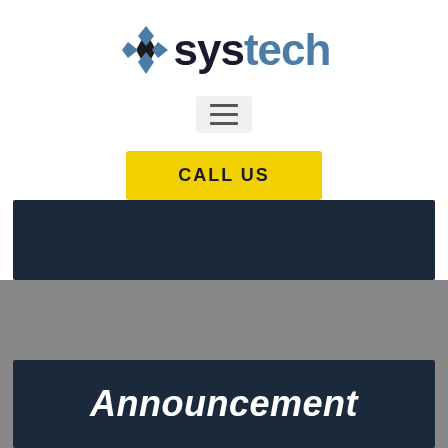[Figure (logo): Systech company logo with diamond/cross icon in black and blue, and the word 'systech' in bold blue and dark text]
[Figure (other): Hamburger menu button (three horizontal lines) on a light gray rounded rectangle background]
CALL US
[Figure (other): Dark navy horizontal banner bar]
[Figure (other): Gray background section]
Announcement